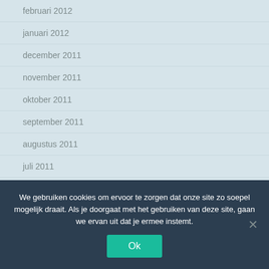februari 2012
januari 2012
december 2011
november 2011
oktober 2011
september 2011
augustus 2011
juli 2011
juni 2011
februari 2011
We gebruiken cookies om ervoor te zorgen dat onze site zo soepel mogelijk draait. Als je doorgaat met het gebruiken van deze site, gaan we ervan uit dat je ermee instemt.